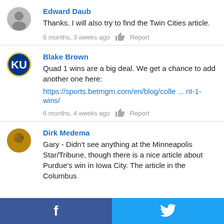Edward Daub
Thanks. I will also try to find the Twin Cities article.
6 months, 3 weeks ago   Report
Blake Brown
Quad 1 wins are a big deal. We get a chance to add another one here:
https://sports.betmgm.com/en/blog/colle ... nt-1-wins/
6 months, 4 weeks ago   Report
Dirk Medema
Gary - Didn't see anything at the Minneapolis Star/Tribune, though there is a nice article about Purdue's win in Iowa City. The article in the Columbus